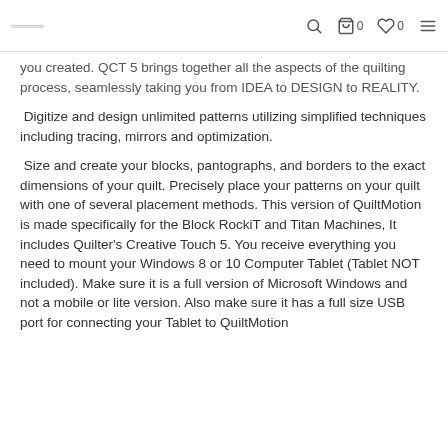🔍 🛒 0 ♡ 0 ≡
you created. QCT 5 brings together all the aspects of the quilting process, seamlessly taking you from IDEA to DESIGN to REALITY.
Digitize and design unlimited patterns utilizing simplified techniques including tracing, mirrors and optimization.
Size and create your blocks, pantographs, and borders to the exact dimensions of your quilt. Precisely place your patterns on your quilt with one of several placement methods. This version of QuiltMotion is made specifically for the Block RockiT and Titan Machines, It includes Quilter's Creative Touch 5. You receive everything you need to mount your Windows 8 or 10 Computer Tablet (Tablet NOT included). Make sure it is a full version of Microsoft Windows and not a mobile or lite version. Also make sure it has a full size USB port for connecting your Tablet to QuiltMotion
New Block RockiT...